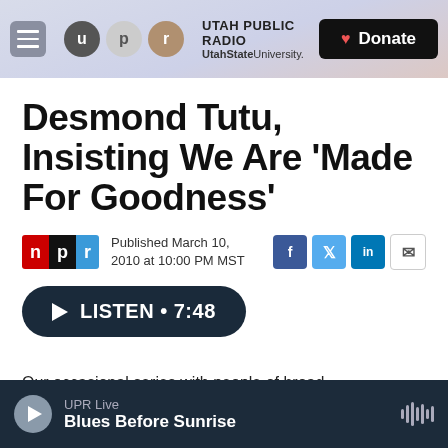UTAH PUBLIC RADIO — UtahState University. Donate
Desmond Tutu, Insisting We Are 'Made For Goodness'
Published March 10, 2010 at 10:00 PM MST
[Figure (other): LISTEN • 7:48 audio player button]
Our occasional series with people of broad
UPR Live — Blues Before Sunrise